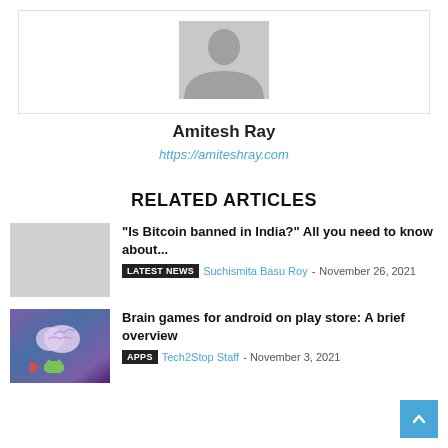[Figure (photo): Author avatar placeholder with silhouette icon]
Amitesh Ray
https://amiteshray.com
RELATED ARTICLES
[Figure (illustration): No image placeholder for Bitcoin article]
“Is Bitcoin banned in India?” All you need to know about...
LATEST NEWS  Suchismita Basu Roy - November 26, 2021
[Figure (photo): Brain with Android and play store icons on purple/blue gradient background]
Brain games for android on play store: A brief overview
APPS  Tech2Stop Staff - November 3, 2021